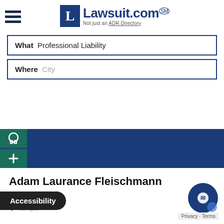[Figure (logo): Lawsuit.com logo with blue L box and tagline 'Not just an ADR Directory']
What  Professional Liability
Where  City
Adam Laurance Fleischmann
Arbitration
Tampa
Accessibility
Privacy · Terms